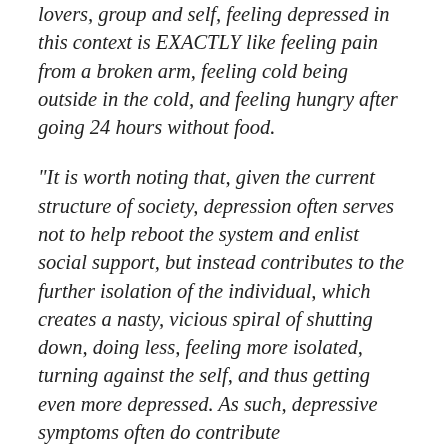lovers, group and self, feeling depressed in this context is EXACTLY like feeling pain from a broken arm, feeling cold being outside in the cold, and feeling hungry after going 24 hours without food.
“It is worth noting that, given the current structure of society, depression often serves not to help reboot the system and enlist social support, but instead contributes to the further isolation of the individual, which creates a nasty, vicious spiral of shutting down, doing less, feeling more isolated, turning against the self, and thus getting even more depressed. As such, depressive symptoms often do contribute